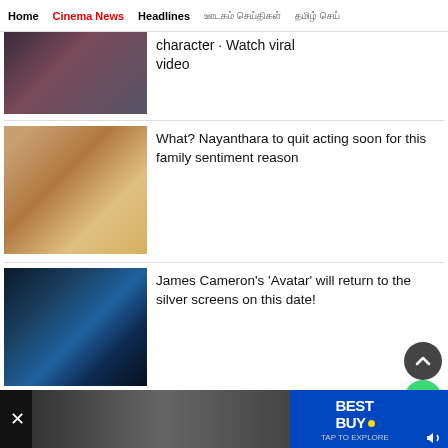Home | Cinema News | Headlines | [Tamil script] | [Tamil script]
[Figure (photo): Partial image of a woman in a dark outfit with jewelry, cropped at the top]
character · Watch viral video
[Figure (photo): Nayanthara actress in traditional jewelry and light-colored outfit, looking contemplative]
What? Nayanthara to quit acting soon for this family sentiment reason
[Figure (photo): James Cameron Avatar character - blue Na'vi with yellow eyes close-up]
James Cameron's 'Avatar' will return to the silver screens on this date!
[Figure (screenshot): Best Buy advertisement bar at bottom with TAP TO EXPLORE text]